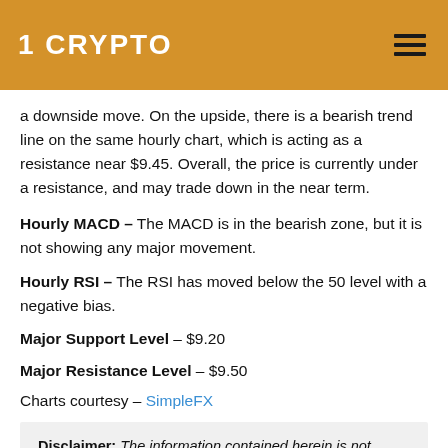1 CRYPTO
a downside move. On the upside, there is a bearish trend line on the same hourly chart, which is acting as a resistance near $9.45. Overall, the price is currently under a resistance, and may trade down in the near term.
Hourly MACD – The MACD is in the bearish zone, but it is not showing any major movement.
Hourly RSI – The RSI has moved below the 50 level with a negative bias.
Major Support Level – $9.20
Major Resistance Level – $9.50
Charts courtesy – SimpleFX
Disclaimer: The information contained herein is not guaranteed, does not purport to be comprehensive and is strictly for information purposes only. It